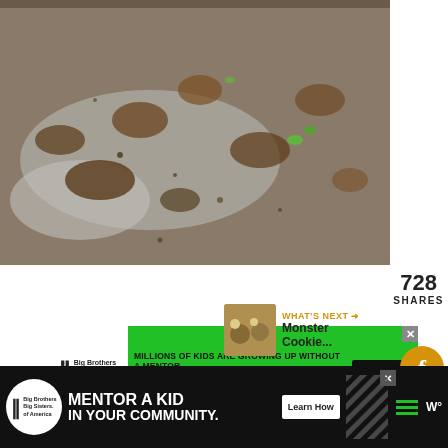[Figure (photo): Close-up photo of a baking pan or tray with food debris, crumbs, and green specks — appears to be a dirty/used baking sheet with brownish residue and small green pieces]
728
SHARES
[Figure (infographic): Big Brothers Big Sisters of America advertisement banner — green background with text: MILLIONS OF KIDS ARE GROWING UP WITHOUT A MENTOR. BECOME A BIG TODAY. Learn How button. Logo on left.]
[Figure (infographic): Social media buttons: Facebook share (gold circle with f icon), Heart/like button (gold circle with heart icon), share count 730 (gold circle), share button with plus icon (gold circle)]
[Figure (infographic): What's Next section with thumbnail image of Monster Cookie... text and orange arrow]
[Figure (infographic): Bottom advertisement bar — dark background — Big Brothers Big Sisters of America logo — MENTOR A KID IN YOUR COMMUNITY. — Learn How button — diagonal pattern — hamburger menu — W degree icon]